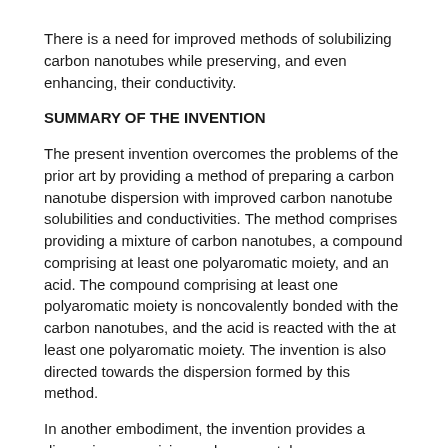There is a need for improved methods of solubilizing carbon nanotubes while preserving, and even enhancing, their conductivity.
SUMMARY OF THE INVENTION
The present invention overcomes the problems of the prior art by providing a method of preparing a carbon nanotube dispersion with improved carbon nanotube solubilities and conductivities. The method comprises providing a mixture of carbon nanotubes, a compound comprising at least one polyaromatic moiety, and an acid. The compound comprising at least one polyaromatic moiety is noncovalently bonded with the carbon nanotubes, and the acid is reacted with the at least one polyaromatic moiety. The invention is also directed towards the dispersion formed by this method.
In another embodiment, the invention provides a dispersion comprising carbon nanotubes noncovalently bonded to compounds comprising respective polyaromatic moieties. At least some of the polyaromatic moieties are reacted with an acid. The dispersion has a carbon nanotube